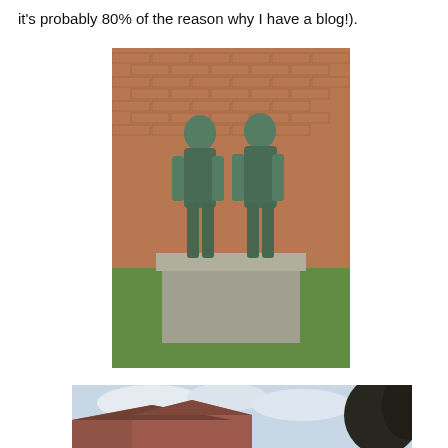it's probably 80% of the reason why I have a blog!).
[Figure (photo): Bronze statue of two men standing side by side on a stone pedestal, in front of a red brick wall with green grass below.]
[Figure (photo): Partial view of a building with a sloped red roof against a cloudy sky, with dark tree foliage on the right edge.]